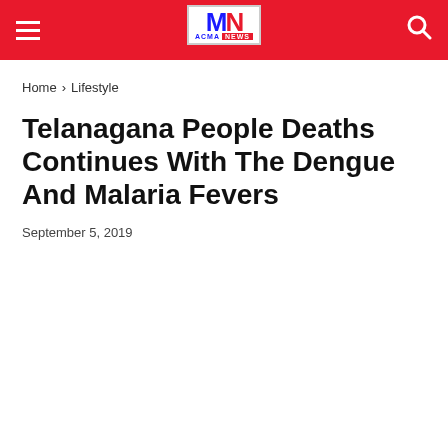ACMA NEWS
Home › Lifestyle
Telanagana People Deaths Continues With The Dengue And Malaria Fevers
September 5, 2019